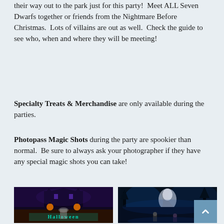their way out to the park just for this party! Meet ALL Seven Dwarfs together or friends from the Nightmare Before Christmas. Lots of villains are out as well. Check the guide to see who, when and where they will be meeting!
Specialty Treats & Merchandise are only available during the parties.
Photopass Magic Shots during the party are spookier than normal. Be sure to always ask your photographer if they have any special magic shots you can take!
[Figure (photo): Person standing in front of a Halloween party sign with a haunted mansion image and jack-o-lanterns, text reads Halloween]
[Figure (photo): Photopass magic shot showing a ghostly figure overlaid on a dark blue scene with people and trees lit in blue light]